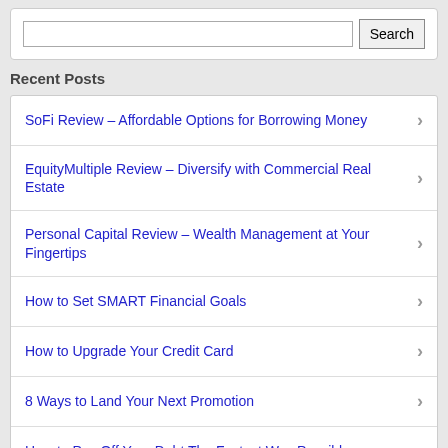Search
Recent Posts
SoFi Review – Affordable Options for Borrowing Money
EquityMultiple Review – Diversify with Commercial Real Estate
Personal Capital Review – Wealth Management at Your Fingertips
How to Set SMART Financial Goals
How to Upgrade Your Credit Card
8 Ways to Land Your Next Promotion
How to Pay Off Your Debt The Fastest Way Possible